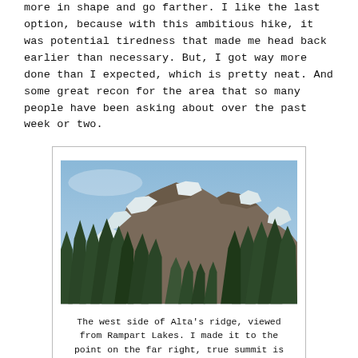more in shape and go farther. I like the last option, because with this ambitious hike, it was potential tiredness that made me head back earlier than necessary. But, I got way more done than I expected, which is pretty neat. And some great recon for the area that so many people have been asking about over the past week or two.
[Figure (photo): Mountain scene showing the west side of Alta's ridge with snow-capped rocky peaks, evergreen trees in the foreground, and a clear blue sky. Viewed from Rampart Lakes.]
The west side of Alta's ridge, viewed from Rampart Lakes. I made it to the point on the far right, true summit is on the left.